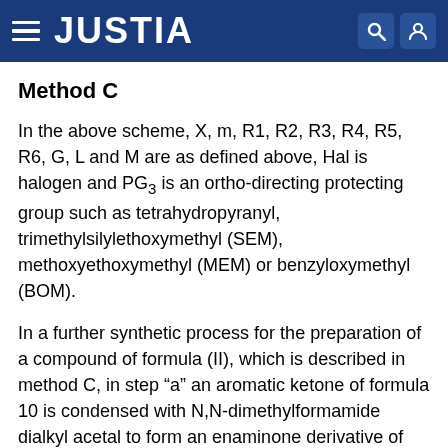JUSTIA
Method C
In the above scheme, X, m, R1, R2, R3, R4, R5, R6, G, L and M are as defined above, Hal is halogen and PG₃ is an ortho-directing protecting group such as tetrahydropyranyl, trimethylsilylethoxymethyl (SEM), methoxyethoxymethyl (MEM) or benzyloxymethyl (BOM).
In a further synthetic process for the preparation of a compound of formula (II), which is described in method C, in step “a” an aromatic ketone of formula 10 is condensed with N,N-dimethylformamide dialkyl acetal to form an enaminone derivative of formula 22, which in steps “b” and “e” is condensed with an appropriate hydrazine to form a pyrazole compound. With a substituted hydrazine the latter reaction may yield a mixture of regioisomers from which the compound of